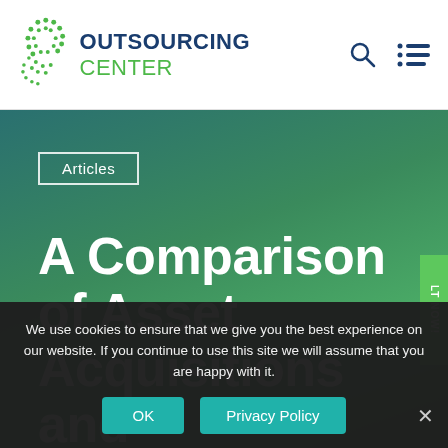OUTSOURCING CENTER
Articles
A Comparison of Asset Acquisitions and Outsourcing
We use cookies to ensure that we give you the best experience on our website. If you continue to use this site we will assume that you are happy with it.
OK | Privacy Policy